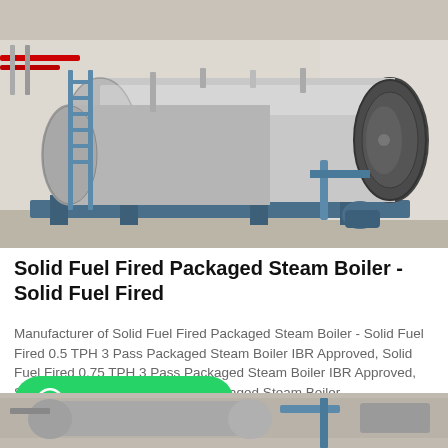[Figure (photo): Industrial solid fuel fired packaged steam boiler installed in a factory/warehouse setting. Large cylindrical horizontal boiler with metallic cladding, blue structural supports and ladders, piping and industrial fittings visible. Bright industrial interior with windows on the right wall.]
Solid Fuel Fired Packaged Steam Boiler - Solid Fuel Fired
Manufacturer of Solid Fuel Fired Packaged Steam Boiler - Solid Fuel Fired 0.5 TPH 3 Pass Packaged Steam Boiler IBR Approved, Solid Fuel Fired 0.75 TPH 3 Pass Packaged Steam Boiler IBR Approved, Solid Fuel Fired 1 TPH 3 Pass Packaged Steam Boiler...
[Figure (photo): Partial view of another industrial boiler or machinery at the bottom of the page, partially cut off.]